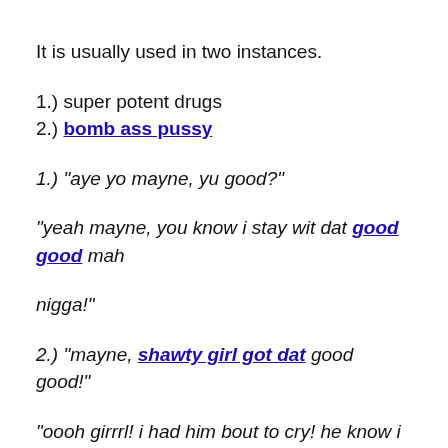It is usually used in two instances.
1.) super potent drugs
2.) bomb ass pussy
1.) "aye yo mayne, yu good?"
"yeah mayne, you know i stay wit dat good good mah
nigga!"
2.) "mayne, shawty girl got dat good good!"
"oooh girrrl! i had him bout to cry! he know i got